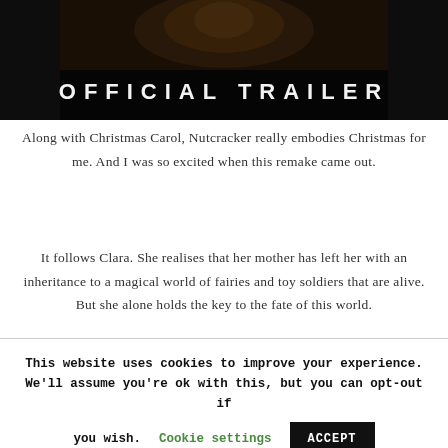[Figure (screenshot): Movie trailer thumbnail with dark background and ornate costume visible at top, with text 'OFFICIAL TRAILER' overlaid in large white letters]
Along with Christmas Carol, Nutcracker really embodies Christmas for me. And I was so excited when this remake came out.
It follows Clara. She realises that her mother has left her with an inheritance to a magical world of fairies and toy soldiers that are alive. But she alone holds the key to the fate of this world.
This website uses cookies to improve your experience. We'll assume you're ok with this, but you can opt-out if you wish. Cookie settings ACCEPT